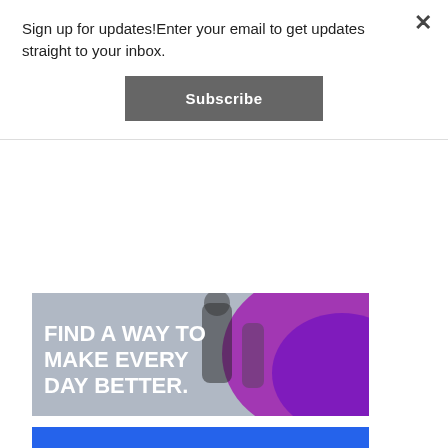Sign up for updates!Enter your email to get updates straight to your inbox.
Subscribe
[Figure (photo): Fitness promotion banner with text 'FIND A WAY TO MAKE EVERY DAY BETTER.' over an image of a person exercising, with purple/magenta graphic elements]
RECENT ARTICLES
[Figure (photo): Thumbnail image of an outdoor scene with a blue sky and what appears to be a fair or festival]
10 THINGS TO DO WITH KIDS IN METRO DETROIT THIS WEEKEND